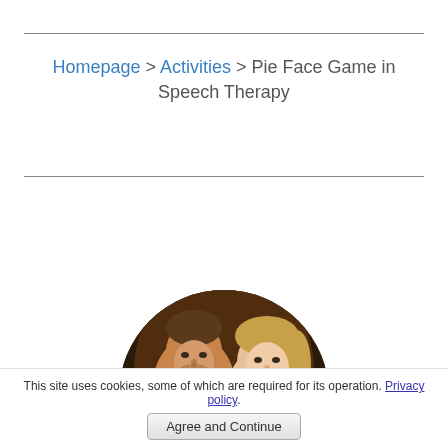Homepage > Activities > Pie Face Game in Speech Therapy
[Figure (photo): Circular cropped photo of a man and a woman, smiling, with a dark background.]
This site uses cookies, some of which are required for its operation. Privacy policy.
Agree and Continue